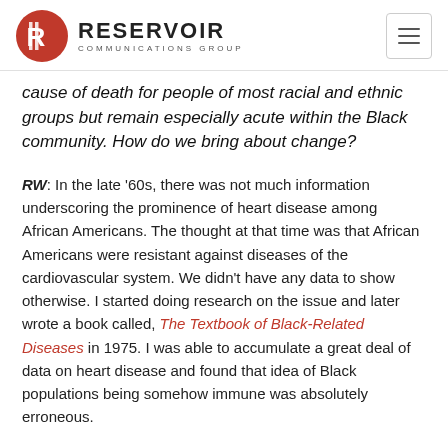RESERVOIR COMMUNICATIONS GROUP
cause of death for people of most racial and ethnic groups but remain especially acute within the Black community. How do we bring about change?
RW: In the late ‘60s, there was not much information underscoring the prominence of heart disease among African Americans. The thought at that time was that African Americans were resistant against diseases of the cardiovascular system. We didn’t have any data to show otherwise. I started doing research on the issue and later wrote a book called, The Textbook of Black-Related Diseases in 1975. I was able to accumulate a great deal of data on heart disease and found that idea of Black populations being somehow immune was absolutely erroneous.
I started an organization called the Association of Black...